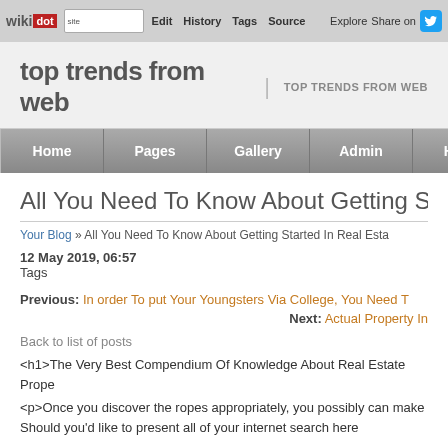wikidot | site Edit History Tags Source Explore Share on [Twitter]
top trends from web | TOP TRENDS FROM WEB
Home Pages Gallery Admin Help
All You Need To Know About Getting Sta
Your Blog » All You Need To Know About Getting Started In Real Esta
12 May 2019, 06:57
Tags
Previous: In order To put Your Youngsters Via College, You Need T
Next: Actual Property In
Back to list of posts
<h1>The Very Best Compendium Of Knowledge About Real Estate Prope
<p>Once you discover the ropes appropriately, you possibly can make Should you'd like to present all of your internet search here